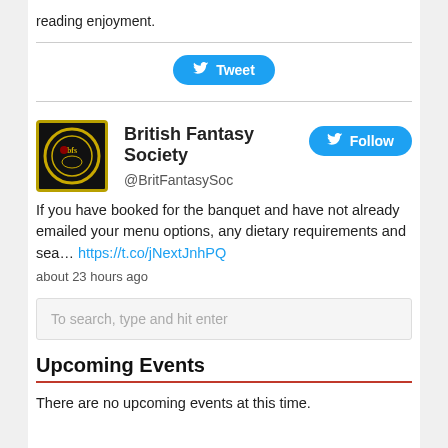reading enjoyment.
[Figure (other): Blue Twitter Tweet button with bird icon]
[Figure (other): British Fantasy Society Twitter widget with logo, Follow button, tweet text about banquet booking and menu options, posted about 23 hours ago]
If you have booked for the banquet and have not already emailed your menu options, any dietary requirements and sea… https://t.co/jNextJnhPQ
about 23 hours ago
To search, type and hit enter
Upcoming Events
There are no upcoming events at this time.